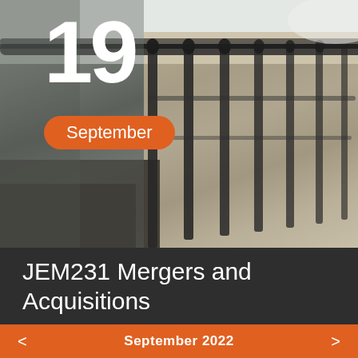[Figure (photo): Blurred background photo of a staircase railing with dark metal balusters against a light background]
19
September
JEM231 Mergers and Acquisitions
September 2022